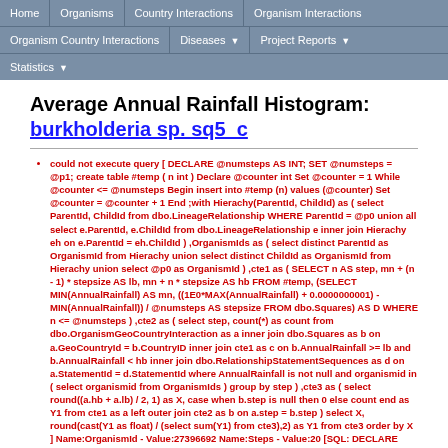Home | Organisms | Country Interactions | Organism Interactions | Organism Country Interactions | Diseases | Project Reports | Statistics
Average Annual Rainfall Histogram: burkholderia sp. sq5_c
could not execute query [ DECLARE @numsteps AS INT; SET @numsteps = @p1; create table #temp ( n int ) Declare @counter int Set @counter = 1 While @counter <= @numsteps Begin insert into #temp (n) values (@counter) Set @counter = @counter + 1 End ;with Hierachy(ParentId, ChildId) as ( select ParentId, ChildId from dbo.LineageRelationship WHERE ParentId = @p0 union all select e.ParentId, e.ChildId from dbo.LineageRelationship e inner join Hierachy eh on e.ParentId = eh.ChildId ) ,OrganismIds as ( select distinct ParentId as OrganismId from Hierachy union select distinct ChildId as OrganismId from Hierachy union select @p0 as OrganismId ) ,cte1 as ( SELECT n AS step, mn + (n - 1) * stepsize AS lb, mn + n * stepsize AS hb FROM #temp, (SELECT MIN(AnnualRainfall) AS mn, ((1E0*MAX(AnnualRainfall) + 0.0000000001) - MIN(AnnualRainfall)) / @numsteps AS stepsize FROM dbo.Squares) AS D WHERE n <= @numsteps ) ,cte2 as ( select step, count(*) as count from dbo.OrganismGeoCountryInteraction as a inner join dbo.Squares as b on a.GeoCountryId = b.CountryID inner join cte1 as c on b.AnnualRainfall >= lb and b.AnnualRainfall < hb inner join dbo.RelationshipStatementSequences as d on a.StatementId = d.StatementId where AnnualRainfall is not null and organismid in ( select organismid from OrganismIds ) group by step ) ,cte3 as ( select round((a.hb + a.lb) / 2, 1) as X, case when b.step is null then 0 else count end as Y1 from cte1 as a left outer join cte2 as b on a.step = b.step ) select X, round(cast(Y1 as float) / (select sum(Y1) from cte3),2) as Y1 from cte3 order by X ] Name:OrganismId - Value:27396692 Name:Steps - Value:20 [SQL: DECLARE @numsteps AS INT; SET @numsteps = @p1; create table #temp ( n int ) Declare @counter int Set